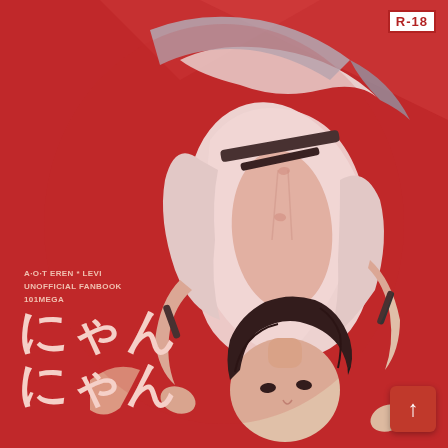[Figure (illustration): Manga/anime style cover illustration on red background showing two male characters in an intimate pose, one with dark hair lying inverted. Adult content (R-18 rated doujinshi cover).]
R-18
A·O·T EREN * LEVI
UNOFFICIAL FANBOOK
101MEGA
にゃん にゃん